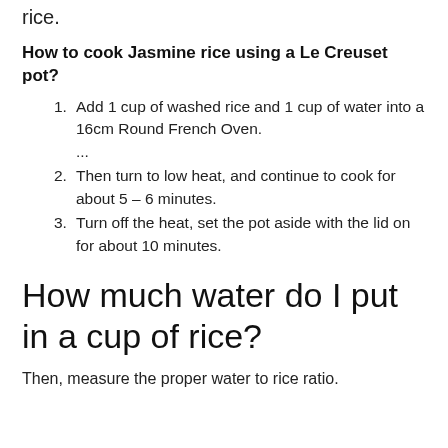rice.
How to cook Jasmine rice using a Le Creuset pot?
Add 1 cup of washed rice and 1 cup of water into a 16cm Round French Oven. ...
Then turn to low heat, and continue to cook for about 5 – 6 minutes.
Turn off the heat, set the pot aside with the lid on for about 10 minutes.
How much water do I put in a cup of rice?
Then, measure the proper water to rice ratio.